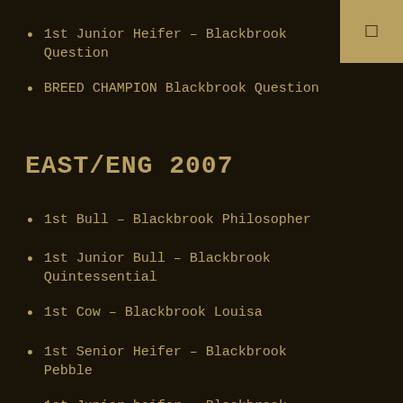1st Junior Heifer – Blackbrook Question
BREED CHAMPION Blackbrook Question
EAST/ENG 2007
1st Bull – Blackbrook Philosopher
1st Junior Bull – Blackbrook Quintessential
1st Cow – Blackbrook Louisa
1st Senior Heifer – Blackbrook Pebble
1st Junior heifer – Blackbrook Question
BREED CHAMPION Blackbrook Pebble
Reserve Breed Champion Blackbrook Philosopher